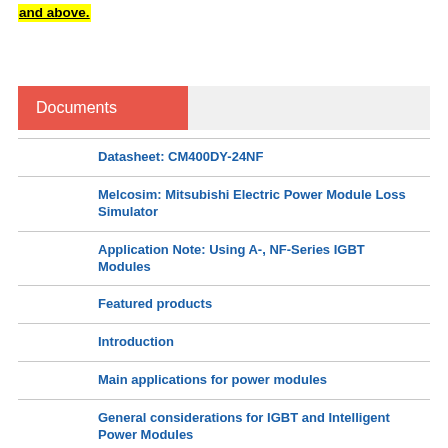and above.
Documents
Datasheet: CM400DY-24NF
Melcosim: Mitsubishi Electric Power Module Loss Simulator
Application Note: Using A-, NF-Series IGBT Modules
Featured products
Introduction
Main applications for power modules
General considerations for IGBT and Intelligent Power Modules
Using IGBT modules